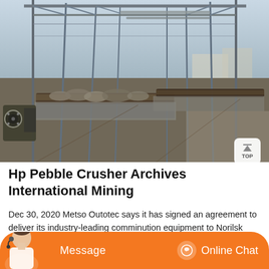[Figure (photo): Aerial/elevated view of a mining conveyor belt system inside a large industrial structure with metal framework, showing long conveyor belts carrying ore/rock material, with a jaw crusher visible on the left side. Industrial mining plant construction scene.]
Hp Pebble Crusher Archives International Mining
Dec 30, 2020 Metso Outotec says it has signed an agreement to deliver its industry-leading comminution equipment to Norilsk Nickels refurbishment project at the Talnakh processing plant in Norilsk, Russia. The contract includes delivery of one SAG mill and two ball mills with a